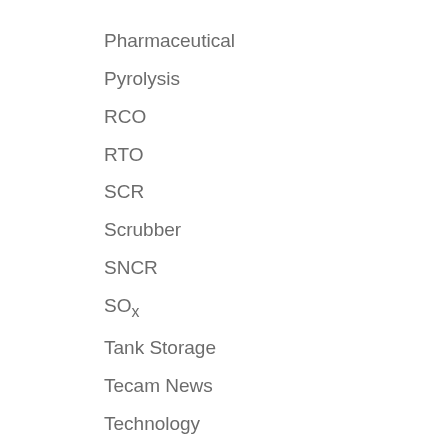Pharmaceutical
Pyrolysis
RCO
RTO
SCR
Scrubber
SNCR
SOx
Tank Storage
Tecam News
Technology
Technology